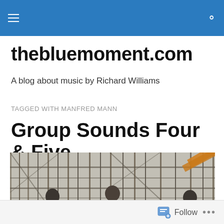thebluemoment.com navigation header
thebluemoment.com
A blog about music by Richard Williams
TAGGED WITH MANFRED MANN
Group Sounds Four & Five
[Figure (photo): Black and white/sepia photograph of a music group (Manfred Mann) under scaffolding or rigging structure, with band members visible in foreground]
Follow